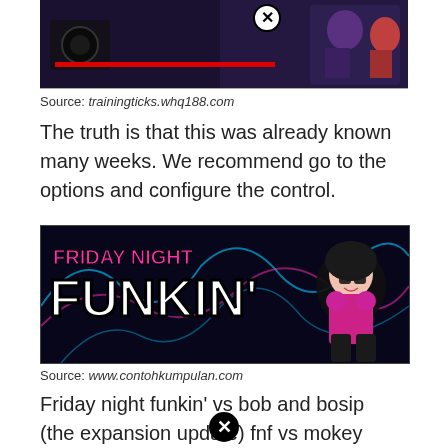[Figure (screenshot): Screenshot of a Friday Night Funkin game showing characters with a red health bar and a close/X button overlay]
Source: trainingticks.whq188.com
The truth is that this was already known many weeks. We recommend go to the options and configure the control.
[Figure (screenshot): Friday Night Funkin logo with a chibi anime girl character sitting against a colorful neon background]
Source: www.contohkumpulan.com
Friday night funkin' vs bob and bosip (the expansion update) fnf vs mokey the